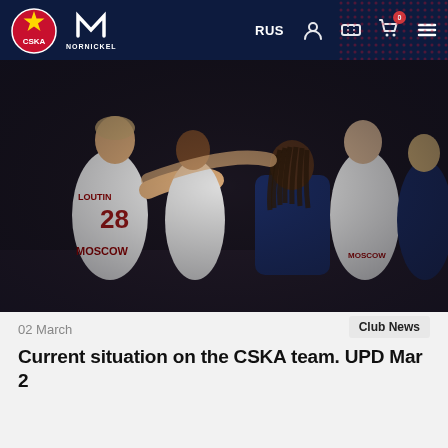CSKA NORNICKEL — RUS navigation bar
[Figure (photo): Basketball players in white CSKA Moscow jerseys huddling together on court, players wearing number 28 jersey visible, dark background arena setting]
02 March
Club News
Current situation on the CSKA team. UPD Mar 2